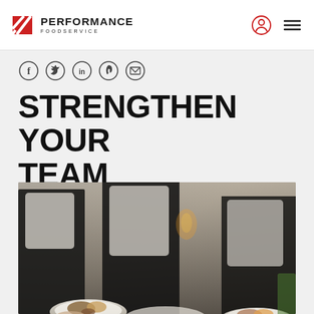Performance Foodservice
STRENGTHEN YOUR TEAM
[Figure (photo): Waitstaff in black aprons and white shirts carrying multiple plates of food at a banquet or catering event]